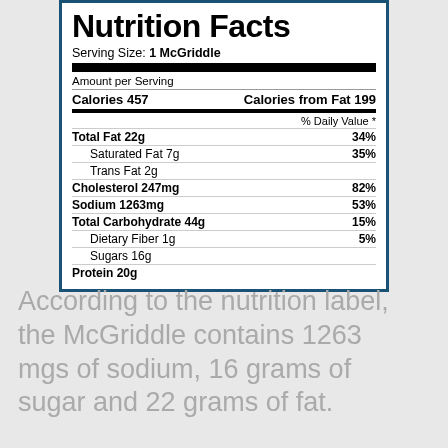Nutrition Facts
Serving Size: 1 McGriddle
| Nutrient | % Daily Value |
| --- | --- |
| Amount per Serving |  |
| Calories 457  Calories from Fat 199 |  |
| Total Fat 22g | 34% |
| Saturated Fat 7g | 35% |
| Trans Fat 2g |  |
| Cholesterol 247mg | 82% |
| Sodium 1263mg | 53% |
| Total Carbohydrate 44g | 15% |
| Dietary Fiber 1g | 5% |
| Sugars 16g |  |
| Protein 20g |  |
According to the nutrition label, the McGriddle contains 1263 mgs of sodium, 16 grams of sugar and 22 grams of fat.